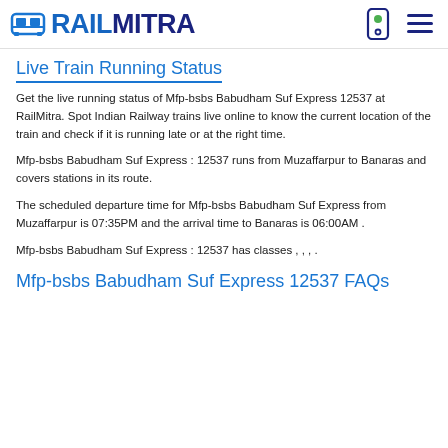RAILMITRA
Live Train Running Status
Get the live running status of Mfp-bsbs Babudham Suf Express 12537 at RailMitra. Spot Indian Railway trains live online to know the current location of the train and check if it is running late or at the right time.
Mfp-bsbs Babudham Suf Express : 12537 runs from Muzaffarpur to Banaras and covers stations in its route.
The scheduled departure time for Mfp-bsbs Babudham Suf Express from Muzaffarpur is 07:35PM and the arrival time to Banaras is 06:00AM .
Mfp-bsbs Babudham Suf Express : 12537 has classes , , , .
Mfp-bsbs Babudham Suf Express 12537 FAQs